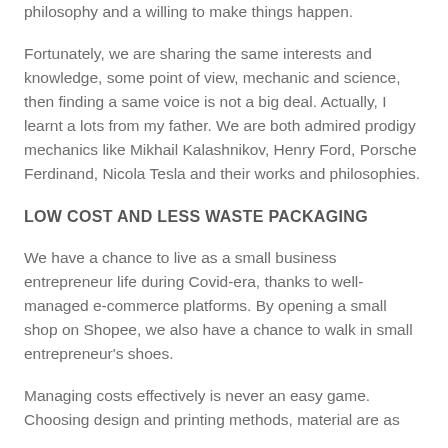philosophy and a willing to make things happen.
Fortunately, we are sharing the same interests and knowledge, some point of view, mechanic and science, then finding a same voice is not a big deal. Actually, I learnt a lots from my father. We are both admired prodigy mechanics like Mikhail Kalashnikov, Henry Ford, Porsche Ferdinand, Nicola Tesla and their works and philosophies.
LOW COST AND LESS WASTE PACKAGING
We have a chance to live as a small business entrepreneur life during Covid-era, thanks to well-managed e-commerce platforms. By opening a small shop on Shopee, we also have a chance to walk in small entrepreneur's shoes.
Managing costs effectively is never an easy game. Choosing design and printing methods, material are as